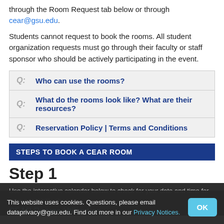through the Room Request tab below or through cear@gsu.edu.
Students cannot request to book the rooms. All student organization requests must go through their faculty or staff sponsor who should be actively participating in the event.
Q: Who can use the rooms?
Q: What do the rooms look like? What are their resources?
Q: Reservation Policy | Terms and Conditions
STEPS TO BOOK A CEAR ROOM
Step 1
Use the interactive calendar below to check for your date and time for prior availability then...
CEAR Rooms Utilization
This website uses cookies. Questions, please email dataprivacy@gsu.edu. Find out more in our Privacy Notices.